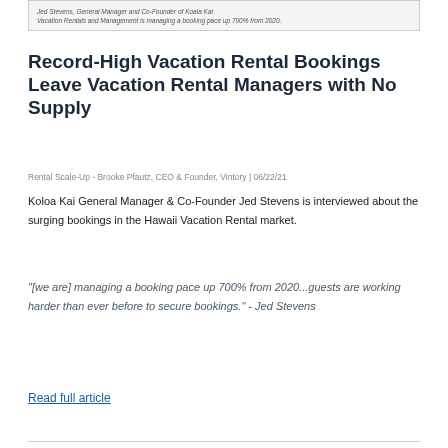Jed Stevens, General Manager and Co-Founder of Koala Kai Vacation Rentals and Management is managing a booking pace up 700% from 2020.
Record-High Vacation Rental Bookings Leave Vacation Rental Managers with No Supply
Rental Scale-Up - Brooke Pfautz, CEO & Founder, Vintory | 06/22/21
Koloa Kai General Manager & Co-Founder Jed Stevens is interviewed about the surging bookings in the Hawaii Vacation Rental market.
"[we are] managing a booking pace up 700% from 2020...guests are working harder than ever before to secure bookings." - Jed Stevens
Read full article